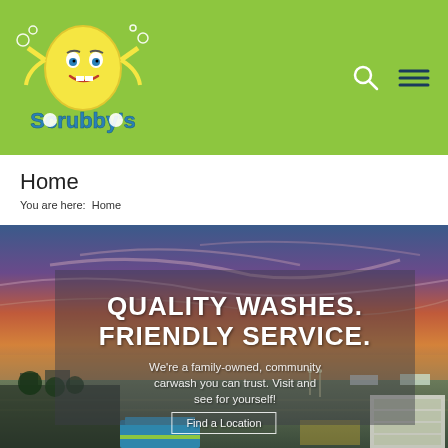[Figure (logo): Scrubby's Car Wash logo on green navigation bar with search and menu icons]
Home
You are here:  Home
[Figure (photo): Aerial/wide shot of car wash facility at sunset with dramatic sky; overlay text reads QUALITY WASHES. FRIENDLY SERVICE. We're a family-owned, community carwash you can trust. Visit and see for yourself! with Find a Location button]